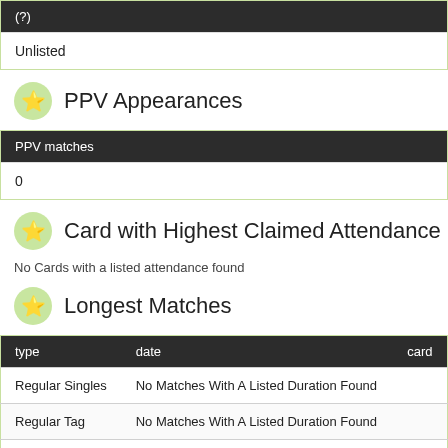| (?) |
| --- |
| Unlisted |
PPV Appearances
| PPV matches |
| --- |
| 0 |
Card with Highest Claimed Attendance
No Cards with a listed attendance found
Longest Matches
| type | date | card |
| --- | --- | --- |
| Regular Singles | No Matches With A Listed Duration Found |  |
| Regular Tag | No Matches With A Listed Duration Found |  |
| Six-Person Tag | No Matches With A Listed Duration Found |  |